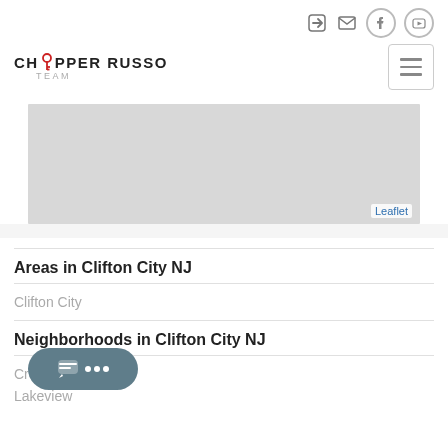Chopper Russo Team - navigation header with icons and menu
[Figure (map): Gray placeholder map area with Leaflet attribution in bottom right]
Areas in Clifton City NJ
Clifton City
Neighborhoods in Clifton City NJ
Crossings
Lakeview